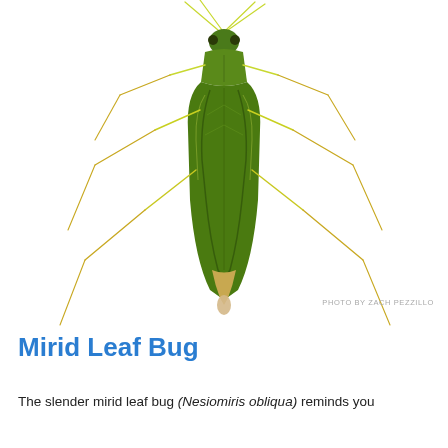[Figure (photo): Close-up dorsal view of a slender green mirid leaf bug (Nesiomiris obliqua) on white background, showing long yellow-green legs, antennae, and elongated green body with darker markings.]
PHOTO BY ZACH PEZZILLO
Mirid Leaf Bug
The slender mirid leaf bug (Nesiomiris obliqua) reminds you